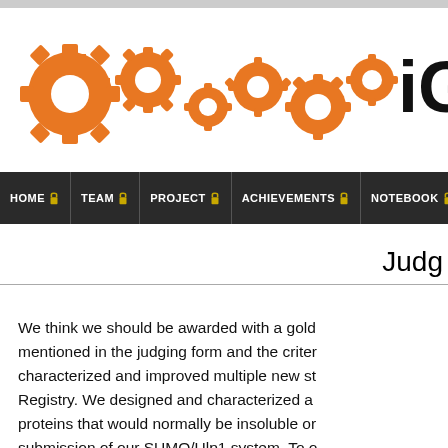[Figure (logo): iGEM logo with orange interlocking gear icons followed by bold black text 'iGE' (partially visible)]
HOME | TEAM | PROJECT | ACHIEVEMENTS | NOTEBOOK | PAR
Judg
We think we should be awarded with a gold mentioned in the judging form and the criter characterized and improved multiple new st Registry. We designed and characterized a proteins that would normally be insoluble or submission of our SUMO/Ulp1 system. To o